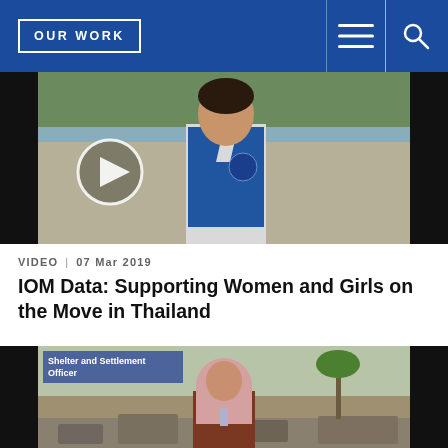OUR WORK
[Figure (screenshot): Video thumbnail showing a woman in an IOM blue vest outdoors near trees and water. A circular play button is visible on the left side.]
VIDEO | 07 Mar 2019
IOM Data: Supporting Women and Girls on the Move in Thailand
[Figure (screenshot): Second video thumbnail showing a woman in a pink hijab standing in front of rubble/destroyed buildings. Text overlay reads 'Shelter and Settlement Officer'.]